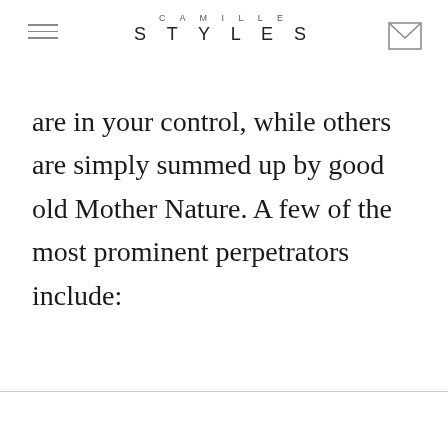CAMILLE STYLES
are in your control, while others are simply summed up by good old Mother Nature. A few of the most prominent perpetrators include: